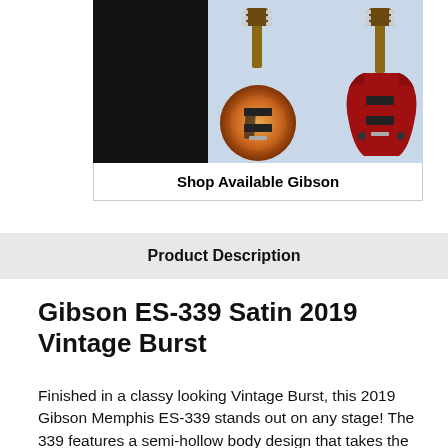[Figure (photo): Photo of two Gibson electric guitars (Les Paul and SG models) against a dark/grey background with a black panel on the left side]
Shop Available Gibson
Product Description
Gibson ES-339 Satin 2019 Vintage Burst
Finished in a classy looking Vintage Burst, this 2019 Gibson Memphis ES-339 stands out on any stage! The 339 features a semi-hollow body design that takes the principles of the classic ES-335 and recasts them in a much smaller-sized guitar. The two MHS II humbuckers are capable of handling overdriven riffs and leads, and rolling down the